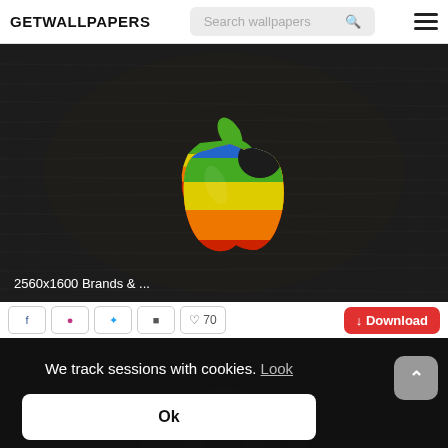GETWALLPAPERS
[Figure (screenshot): Wallpaper website screenshot showing a dark wood-grain background with a rainbow Apple logo in the center]
2560x1600 Brands & ...
We track sessions with cookies. Look
Ok